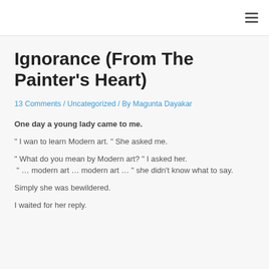≡
Ignorance (From The Painter's Heart)
13 Comments / Uncategorized / By Magunta Dayakar
One day a young lady came to me.
" I wan to learn Modern art. "  She asked me.
" What do you mean by Modern art? " I asked her.
 " … modern art … modern art … " she didn't know what to say.
Simply she was bewildered.
I waited for her reply.